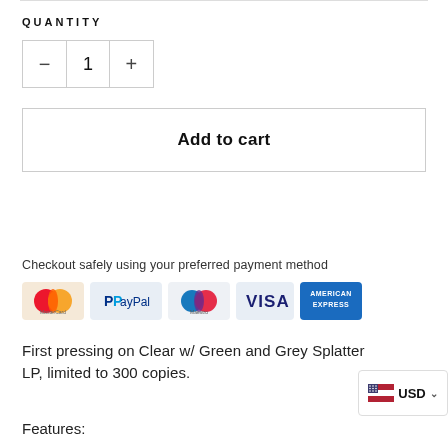QUANTITY
- 1 +
Add to cart
Checkout safely using your preferred payment method
[Figure (infographic): Payment method logos: Mastercard, PayPal, Maestro, Visa, American Express]
First pressing on Clear w/ Green and Grey Splatter LP, limited to 300 copies.
Features: